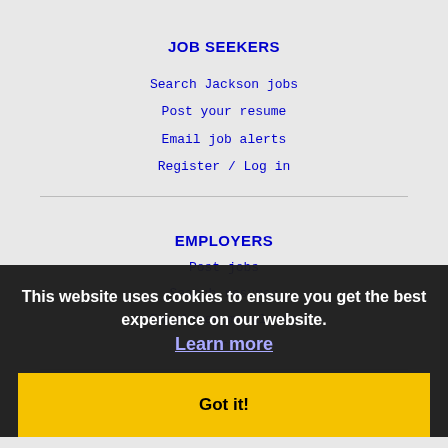JOB SEEKERS
Search Jackson jobs
Post your resume
Email job alerts
Register / Log in
EMPLOYERS
Post jobs
Search resumes
Email resume alerts
Advertise
This website uses cookies to ensure you get the best experience on our website. Learn more
Got it!
IMMIGRATION SPECIALISTS
Post jobs